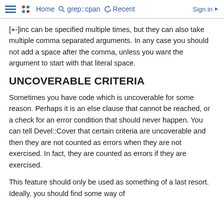Home | grep::cpan | Recent | Sign in
[+-]inc can be specified multiple times, but they can also take multiple comma separated arguments. In any case you should not add a space after the comma, unless you want the argument to start with that literal space.
UNCOVERABLE CRITERIA
Sometimes you have code which is uncoverable for some reason. Perhaps it is an else clause that cannot be reached, or a check for an error condition that should never happen. You can tell Devel::Cover that certain criteria are uncoverable and then they are not counted as errors when they are not exercised. In fact, they are counted as errors if they are exercised.
This feature should only be used as something of a last resort. Ideally, you should find some way of